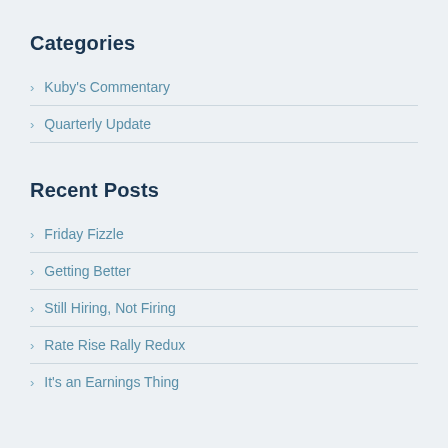Categories
Kuby's Commentary
Quarterly Update
Recent Posts
Friday Fizzle
Getting Better
Still Hiring, Not Firing
Rate Rise Rally Redux
It's an Earnings Thing